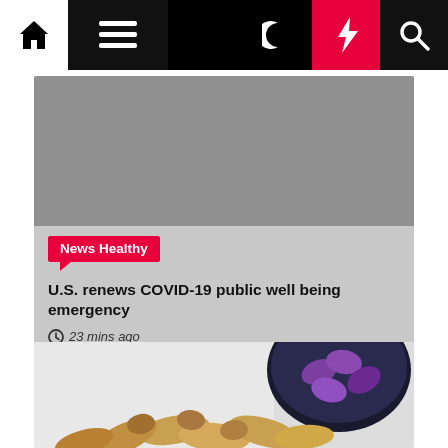Navigation bar with home, menu, moon, bolt, and search icons
[Figure (screenshot): Gray image placeholder for article hero image]
News Healthy
U.S. renews COVID-19 public well being emergency
23 mins ago
[Figure (photo): Photo of pill/supplement capsules spilling from a dark purple/black container, with peanuts visible at bottom]